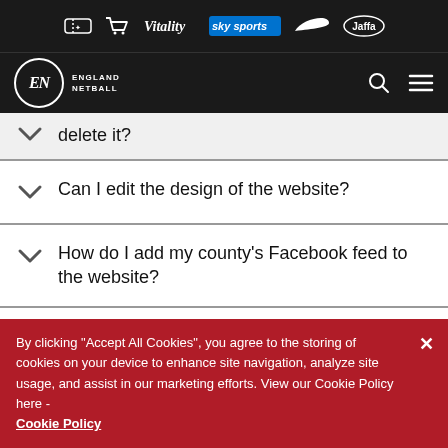[Figure (logo): England Netball website header with sponsor logos (Vitality, Sky Sports, Nike, Jaffa) and navigation bar with EN logo, search and menu icons]
delete it?
Can I edit the design of the website?
How do I add my county's Facebook feed to the website?
How do I add my county's Twitter feed to the website?
By clicking "Accept All Cookies", you agree to the storing of cookies on your device to enhance site navigation, analyze site usage, and assist in our marketing efforts. View our Cookie Policy here - Cookie Policy